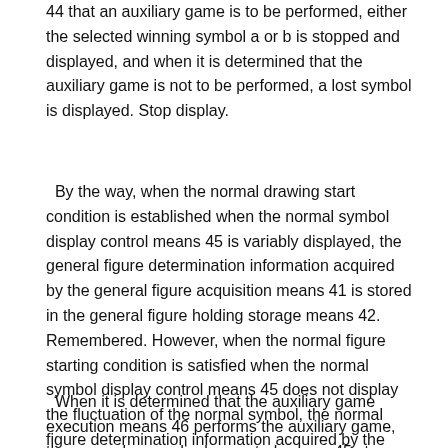44 that an auxiliary game is to be performed, either the selected winning symbol a or b is stopped and displayed, and when it is determined that the auxiliary game is not to be performed, a lost symbol is displayed. Stop display.
By the way, when the normal drawing start condition is established when the normal symbol display control means 45 is variably displayed, the general figure determination information acquired by the general figure acquisition means 41 is stored in the general figure holding storage means 42. Remembered. However, when the normal figure starting condition is satisfied when the normal symbol display control means 45 does not display the fluctuation of the normal symbol, the normal figure determination information acquired by the normal figure acquisition means 41 is also immediately updated. Even when it is used for the determination according to the above, it is temporarily stored in the general-purpose hold storage means 42.
When it is determined that the auxiliary game execution means 46 performs the auxiliary game, the general game display control means 45 stops and displays the determination symbol (winning symbol) indicating the